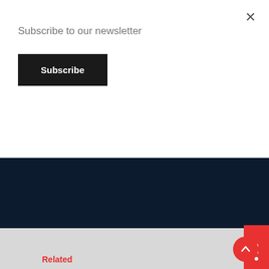Subscribe to our newsletter
Subscribe
[Figure (logo): Lucy Paynter Spiritual Insights logo — stylized LP monogram in cyan/blue on dark background with text LUCY PAYNTER and subtitle Spiritual Insights and Inspirations]
Spiritual Insights and Inspirations
Like this:
Loading...
Related